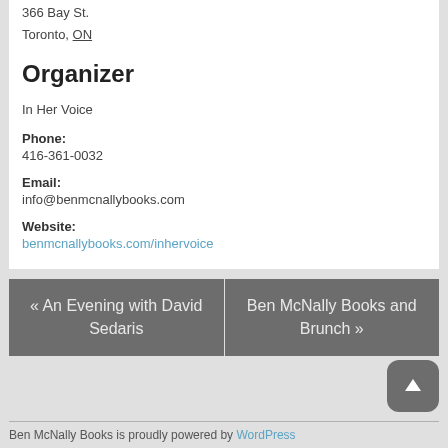366 Bay St.
Toronto, ON
Organizer
In Her Voice
Phone:
416-361-0032
Email:
info@benmcnallybooks.com
Website:
benmcnallybooks.com/inhervoice
« An Evening with David Sedaris
Ben McNally Books and Brunch »
Ben McNally Books is proudly powered by WordPress